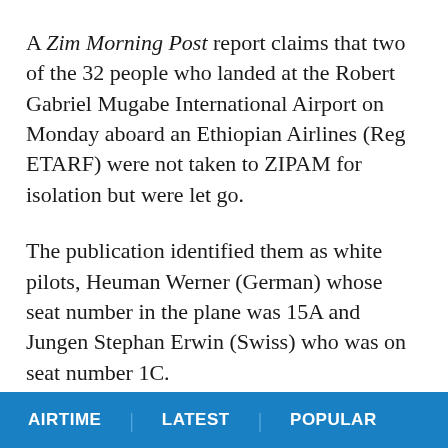A Zim Morning Post report claims that two of the 32 people who landed at the Robert Gabriel Mugabe International Airport on Monday aboard an Ethiopian Airlines (Reg ETARF) were not taken to ZIPAM for isolation but were let go.
The publication identified them as white pilots, Heuman Werner (German) whose seat number in the plane was 15A and Jungen Stephan Erwin (Swiss) who was on seat number 1C.
After getting their entry visas, the two were taken home by the people who were waiting for them.
Harare City Council Health Services director Prosper
AIRTIME | LATEST | POPULAR